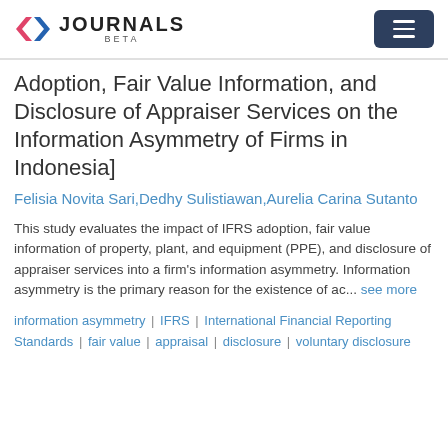X JOURNALS BETA
[...Adoption, Fair Value Information, and Disclosure of Appraiser Services on the Information Asymmetry of Firms in Indonesia]
Felisia Novita Sari,Dedhy Sulistiawan,Aurelia Carina Sutanto
This study evaluates the impact of IFRS adoption, fair value information of property, plant, and equipment (PPE), and disclosure of appraiser services into a firm's information asymmetry. Information asymmetry is the primary reason for the existence of ac... see more
information asymmetry | IFRS | International Financial Reporting Standards | fair value | appraisal | disclosure | voluntary disclosure